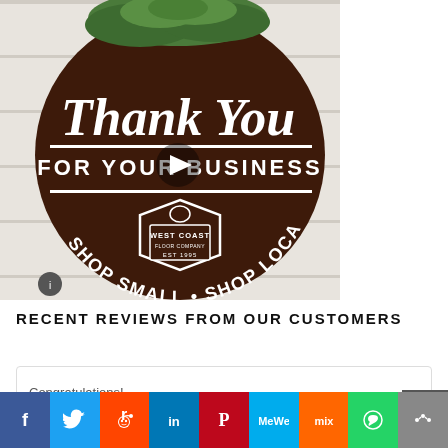[Figure (photo): A round wooden sign with dark stain reading 'Thank You FOR YOUR BUSINESS' with 'SHOP SMALL • SHOP LOCAL' around the bottom, featuring the West Coast company logo/shield in the center, decorated with greenery at the top, hung on a white wooden wall background.]
RECENT REVIEWS FROM OUR CUSTOMERS
Congratulations!
[Figure (infographic): Social media sharing bar with icons for Facebook, Twitter, Reddit, LinkedIn, Pinterest, MeWe, Mix, WhatsApp, and More (share)]